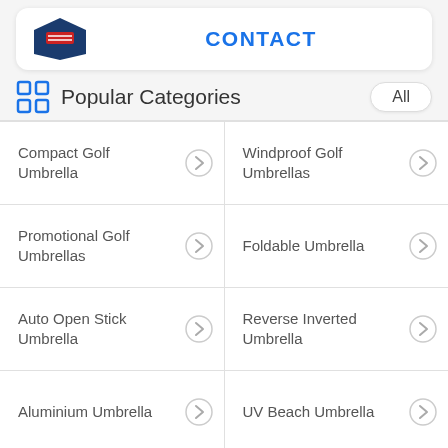[Figure (screenshot): Top card with umbrella product image and CONTACT link]
Popular Categories
Compact Golf Umbrella
Windproof Golf Umbrellas
Promotional Golf Umbrellas
Foldable Umbrella
Auto Open Stick Umbrella
Reverse Inverted Umbrella
Aluminium Umbrella
UV Beach Umbrella